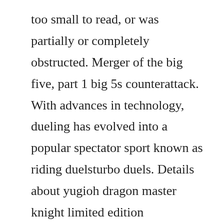too small to read, or was partially or completely obstructed. Merger of the big five, part 1 big 5s counterattack. With advances in technology, dueling has evolved into a popular spectator sport known as riding duelsturbo duels. Details about yugioh dragon master knight limited edition ue02en001. Ra phoenix form destroys dmk and any egc destroys fgd due to them being divine beasts just need 5050 atk. Season 1 subtitled episode 45, dm quest 3 dragon master knight, on crunchyroll.